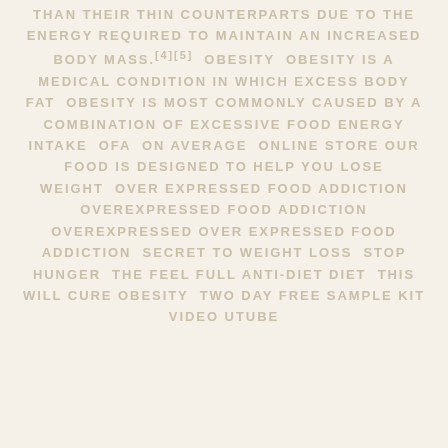THAN THEIR THIN COUNTERPARTS DUE TO THE ENERGY REQUIRED TO MAINTAIN AN INCREASED BODY MASS.[4][5]  OBESITY  OBESITY IS A MEDICAL CONDITION IN WHICH EXCESS BODY FAT  OBESITY IS MOST COMMONLY CAUSED BY A COMBINATION OF EXCESSIVE FOOD ENERGY INTAKE  OFA  ON AVERAGE  ONLINE STORE OUR FOOD IS DESIGNED TO HELP YOU LOSE WEIGHT  OVER EXPRESSED FOOD ADDICTION OVEREXPRESSED FOOD ADDICTION OVEREXPRESSED OVER EXPRESSED FOOD ADDICTION  SECRET TO WEIGHT LOSS  STOP HUNGER  THE FEEL FULL ANTI-DIET DIET  THIS WILL CURE OBESITY  TWO DAY FREE SAMPLE KIT VIDEO UTUBE